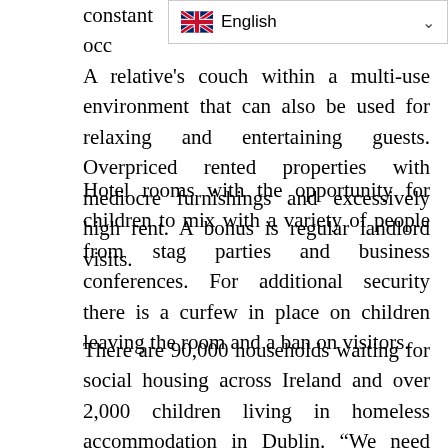constant air circulation and occ... A relative's couch within a multi-use environment that can also be used for relaxing and entertaining guests. Overpriced rented properties with mediocre furnishings and excessively high rent. A bonus is regular landlord visits.
Hotel rooms with the opportunity for children to mix with a variety of people from stag parties and business conferences. For additional security there is a curfew in place on children leaving the room and a ban on visitors.
There are 90,000 households waiting for social housing across Ireland and over 2,000 children living in homeless accommodation in Dublin. “We need swift action on social housing to meet the needs of these families,” said John-Mark McCafferty.The situation for many families is critical, he said. “Since August 2015 in Dublin alone the number of families living in homeless accommodation has jumped from 607 to 998 and the